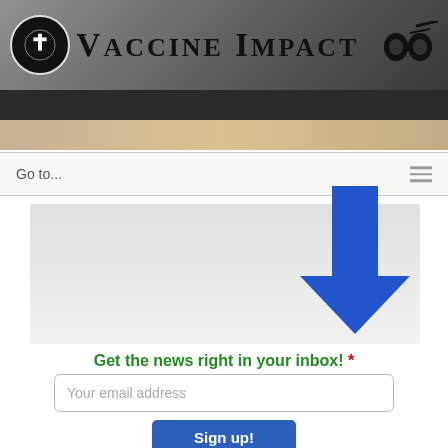Vaccine Impact
Go to...
[Figure (infographic): Large blue downward-pointing arrow over a light grey promotional box]
Get the news right in your inbox! *
Your email address
Sign up!
We respect your email privacy
Top Stories This Week